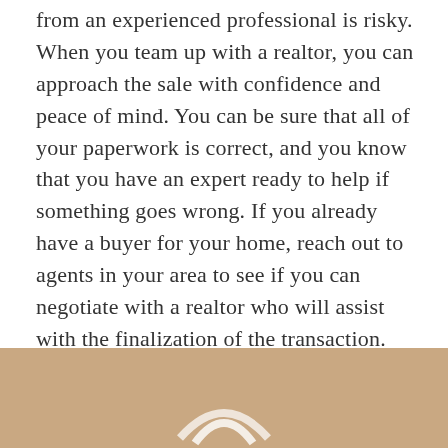from an experienced professional is risky. When you team up with a realtor, you can approach the sale with confidence and peace of mind. You can be sure that all of your paperwork is correct, and you know that you have an expert ready to help if something goes wrong. If you already have a buyer for your home, reach out to agents in your area to see if you can negotiate with a realtor who will assist with the finalization of the transaction.
[Figure (infographic): Four social media icon circles in a row: Facebook (dark blue), Twitter (light blue), Pinterest (red), LinkedIn (dark teal)]
[Figure (illustration): Tan/beige footer bar at the bottom of the page with a partial logo visible]